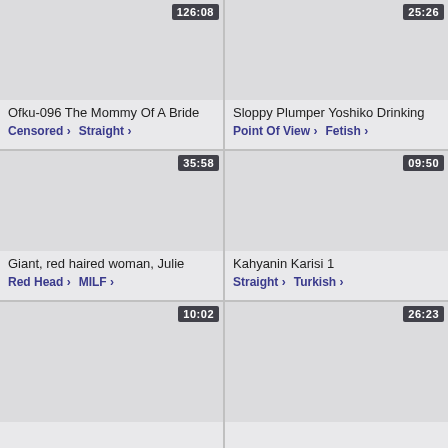[Figure (screenshot): Video thumbnail card 1 – Ofku-096 The Mommy Of A Bride, duration 126:08, tags: Censored, Straight]
[Figure (screenshot): Video thumbnail card 2 – Sloppy Plumper Yoshiko Drinking, duration 25:26, tags: Point Of View, Fetish]
[Figure (screenshot): Video thumbnail card 3 – Giant, red haired woman, Julie, duration 35:58, tags: Red Head, MILF]
[Figure (screenshot): Video thumbnail card 4 – Kahyanin Karisi 1, duration 09:50, tags: Straight, Turkish]
[Figure (screenshot): Video thumbnail card 5 – duration 10:02, no title visible]
[Figure (screenshot): Video thumbnail card 6 – duration 26:23, no title visible]